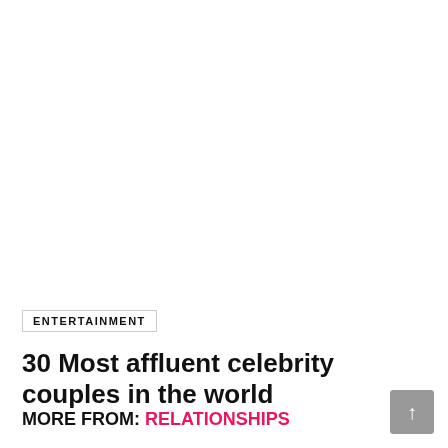ENTERTAINMENT
30 Most affluent celebrity couples in the world
MORE FROM: RELATIONSHIPS